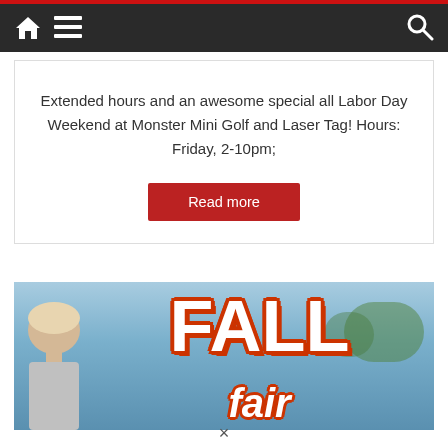Navigation bar with home, menu, and search icons
Extended hours and an awesome special all Labor Day Weekend at Monster Mini Golf and Laser Tag! Hours: Friday, 2-10pm;
Read more
[Figure (photo): Photo showing the back of a blond child's head with a colorful 'FALL fair' text overlay graphic in white with red/orange outline on a blue outdoor background]
×